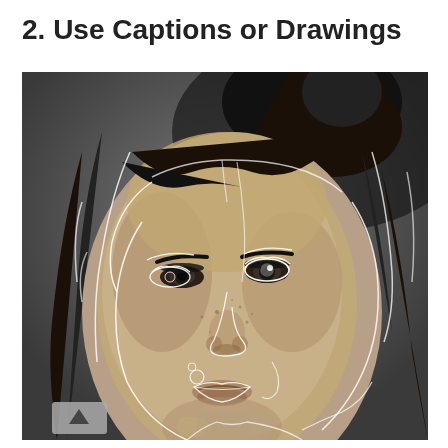2. Use Captions or Drawings
[Figure (illustration): Black and white portrait photo of a young woman with freckles and dark hair in a bun, overlaid with white line art drawings of facial features — eyes, nose, lips — in a continuous-line illustration style. A small grey navigation arrow box is visible in the bottom-left corner of the image.]